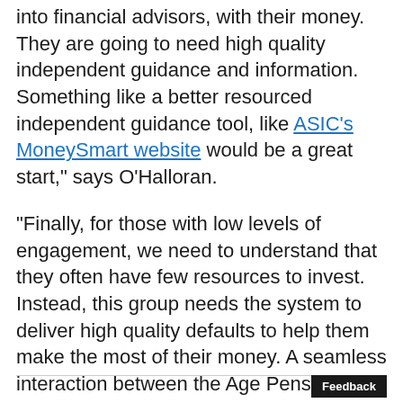...into financial advisors, with their money. They are going to need high quality independent guidance and information. Something like a better resourced independent guidance tool, like ASIC's MoneySmart website would be a great start," says O'Halloran.
"Finally, for those with low levels of engagement, we need to understand that they often have few resources to invest. Instead, this group needs the system to deliver high quality defaults to help them make the most of their money. A seamless interaction between the Age Pension and their super savings is key," says O'Halloran.